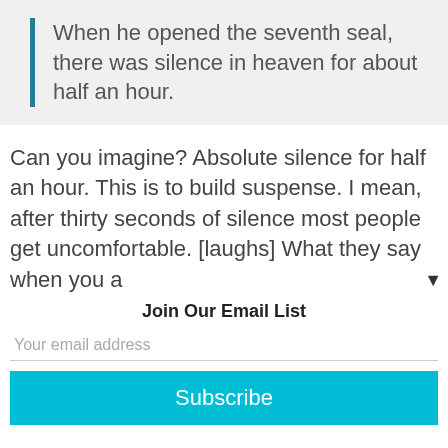When he opened the seventh seal, there was silence in heaven for about half an hour.
Can you imagine? Absolute silence for half an hour. This is to build suspense. I mean, after thirty seconds of silence most people get uncomfortable. [laughs] What they say when you a
Join Our Email List
Your email address
Subscribe